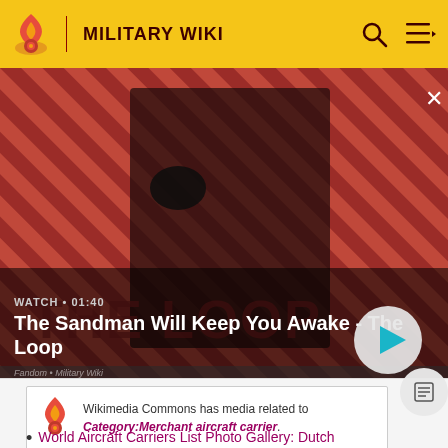MILITARY WIKI
[Figure (screenshot): Video thumbnail showing a dark-cloaked figure with a raven on shoulder against a red diagonal stripe background. Text overlay: WATCH • 01:40, The Sandman Will Keep You Awake - The Loop. Play button visible.]
Wikimedia Commons has media related to Category:Merchant aircraft carrier.
World Aircraft Carriers List Photo Gallery: Dutch